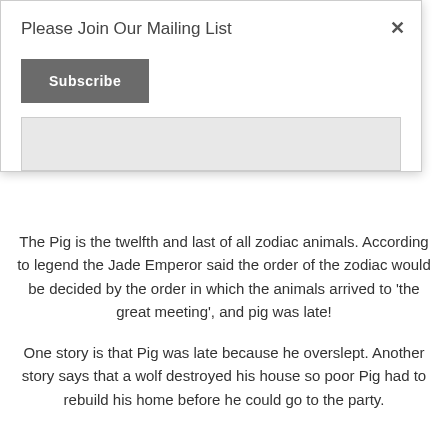Please Join Our Mailing List
Subscribe
The Pig is the twelfth and last of all zodiac animals. According to legend the Jade Emperor said the order of the zodiac would be decided by the order in which the animals arrived to 'the great meeting', and pig was late!
One story is that Pig was late because he overslept. Another story says that a wolf destroyed his house so poor Pig had to rebuild his home before he could go to the party.